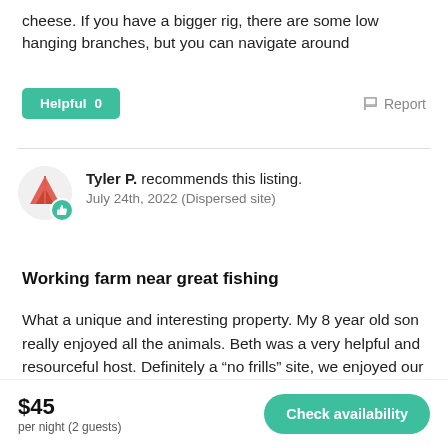cheese. If you have a bigger rig, there are some low hanging branches, but you can navigate around
Helpful 0
Report
Tyler P. recommends this listing.
July 24th, 2022 (Dispersed site)
Working farm near great fishing
What a unique and interesting property. My 8 year old son really enjoyed all the animals. Beth was a very helpful and resourceful host. Definitely a “no frills” site, we enjoyed our stay and would go back. Great fishing at nearby Bangs lake
$45
per night (2 guests)
Check availability